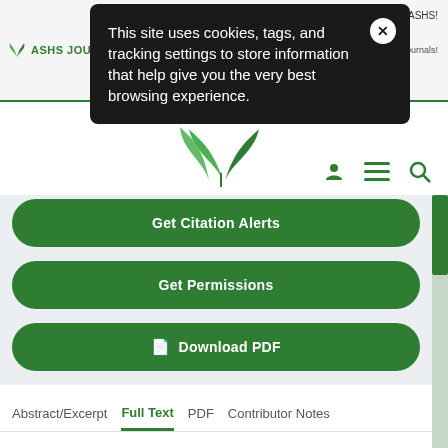[Figure (screenshot): ASHS Journal website header with logo, magazine thumbnails, and right-side promotional text]
This site uses cookies, tags, and tracking settings to store information that help give you the very best browsing experience.
[Figure (illustration): Green plant/leaf logo for ASHS journal website]
[Figure (screenshot): Navigation icons: user, hamburger menu, search]
Get Citation Alerts
Get Permissions
Download PDF
Abstract/Excerpt
Full Text
PDF
Contributor Notes
Abstract